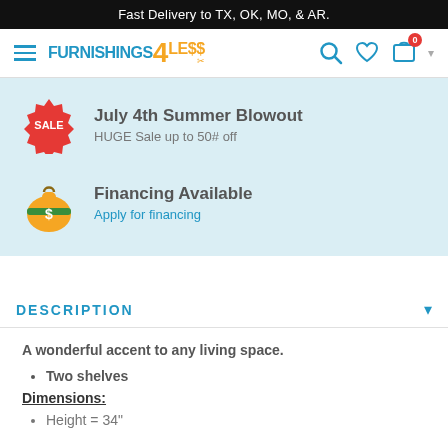Fast Delivery to TX, OK, MO, & AR.
[Figure (logo): Furnishings 4 Less logo with navigation icons (hamburger menu, search, heart, cart with 0 badge)]
July 4th Summer Blowout
HUGE Sale up to 50# off
Financing Available
Apply for financing
DESCRIPTION
A wonderful accent to any living space.
Two shelves
Dimensions:
Height = 34"